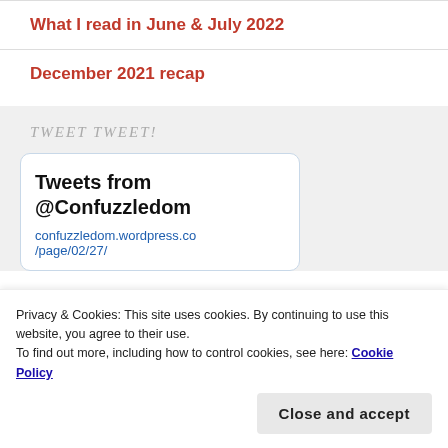What I read in June & July 2022
December 2021 recap
TWEET TWEET!
Tweets from @Confuzzledom
confuzzledom.wordpress.co
/page/02/27/
Privacy & Cookies: This site uses cookies. By continuing to use this website, you agree to their use.
To find out more, including how to control cookies, see here: Cookie Policy